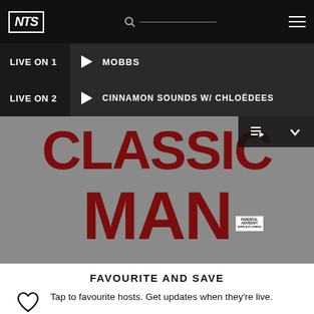NTS
LIVE ON 1  ▶  MOBBS
LIVE ON 2  ▶  CINNAMON SOUNDS W/ CHLOËDEES
[Figure (photo): Album artwork for 'Classic Man' — dark red/maroon bold text on grey background reading CLASSIC MAN with an explicit content advisory label]
FAVOURITE AND SAVE
Tap to favourite hosts. Get updates when they're live.